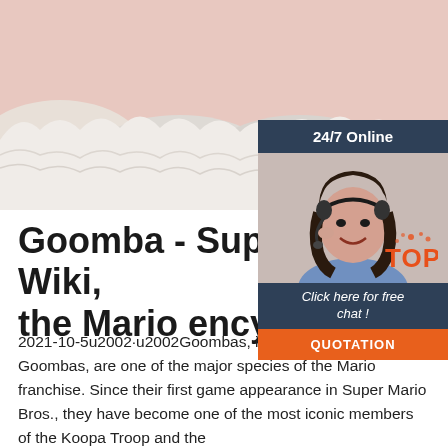[Figure (photo): Photo of white ruffled fabric/tulle against a pink wall background]
[Figure (infographic): Advertisement overlay: '24/7 Online' with photo of woman wearing headset, 'Click here for free chat!' text and orange QUOTATION button]
Goomba - Super Mario Wiki, the Mario encyclopedia
2021-10-5u2002·u2002Goombas, initially called Little Goombas, are one of the major species of the Mario franchise. Since their first game appearance in Super Mario Bros., they have become one of the most iconic members of the Koopa Troop and the